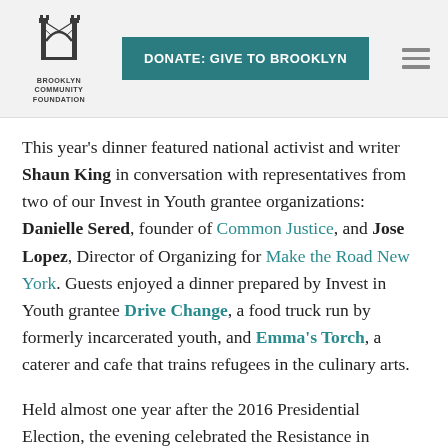[Figure (logo): Brooklyn Community Foundation logo with stylized bridge icon and text 'BROOKLYN COMMUNITY FOUNDATION']
DONATE: GIVE TO BROOKLYN
This year's dinner featured national activist and writer Shaun King in conversation with representatives from two of our Invest in Youth grantee organizations: Danielle Sered, founder of Common Justice, and Jose Lopez, Director of Organizing for Make the Road New York. Guests enjoyed a dinner prepared by Invest in Youth grantee Drive Change, a food truck run by formerly incarcerated youth, and Emma's Torch, a caterer and cafe that trains refugees in the culinary arts.
Held almost one year after the 2016 Presidential Election, the evening celebrated the Resistance in Brooklyn and inspired us to continue to fight for